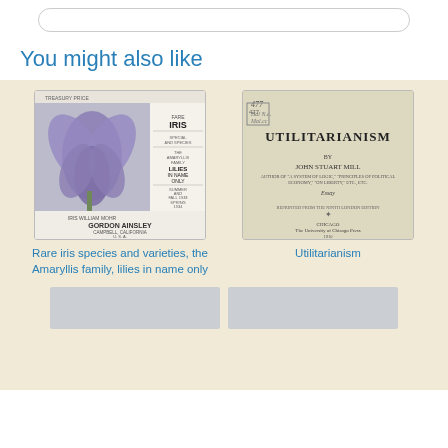You might also like
[Figure (photo): Rare iris species seed catalog cover showing purple iris flower, titled IRIS, with text about the Amaryllis family and lilies, published by Gordon Ainsley, Campbell California USA]
[Figure (photo): Title page of the book Utilitarianism by John Stuart Mill, published by The University of Chicago Press]
Rare iris species and varieties, the Amaryllis family, lilies in name only
Utilitarianism
[Figure (photo): Partially visible book cover at bottom left]
[Figure (photo): Partially visible book cover at bottom right]